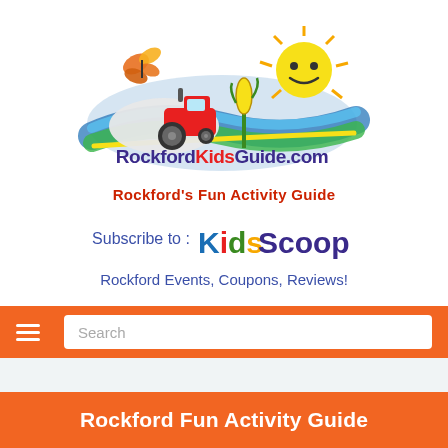[Figure (logo): RockfordKidsGuide.com logo with cartoon red tractor, sun with smiley face, butterfly, and blue wave swoosh with colorful text]
Rockford's Fun Activity Guide
Subscribe to : Kids Scoop
Rockford Events, Coupons, Reviews!
[Figure (screenshot): Orange navigation bar with hamburger menu icon on left and Search text input box]
Rockford Fun Activity Guide